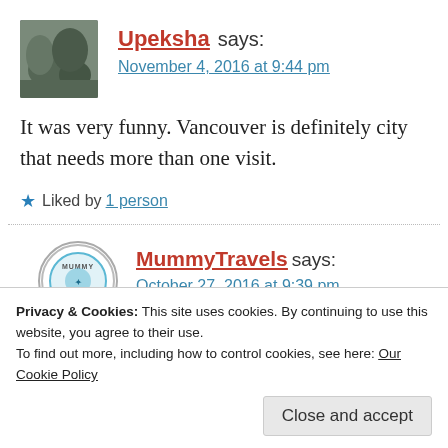Upeksha says: November 4, 2016 at 9:44 pm
It was very funny. Vancouver is definitely city that needs more than one visit.
★ Liked by 1 person
MummyTravels says: October 27, 2016 at 9:39 pm
Privacy & Cookies: This site uses cookies. By continuing to use this website, you agree to their use.
To find out more, including how to control cookies, see here: Our Cookie Policy
Close and accept